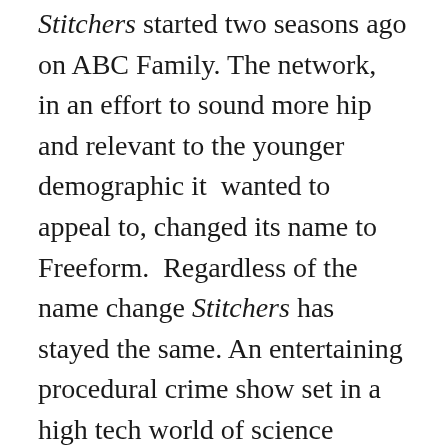Stitchers started two seasons ago on ABC Family. The network,  in an effort to sound more hip and relevant to the younger demographic it  wanted to appeal to, changed its name to Freeform.  Regardless of the name change Stitchers has stayed the same. An entertaining procedural crime show set in a high tech world of science fiction.  As fans wait anxiously, Freeform has yet to confirm a third season for this excellent show.
The reason for Freeform dragging their feet on a decision could be blamed on live viewership dropping  in the second season.